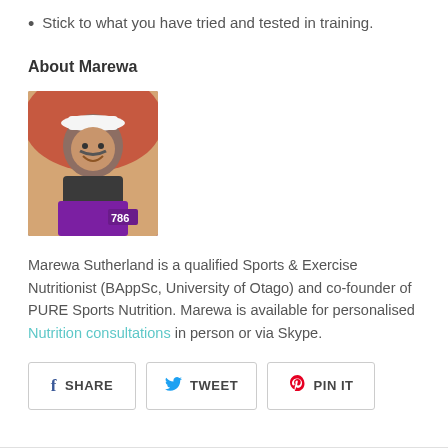Stick to what you have tried and tested in training.
About Marewa
[Figure (photo): Photo of Marewa Sutherland, a woman smiling wearing a white cap and sports gear with race number 786 on a purple bib.]
Marewa Sutherland is a qualified Sports & Exercise Nutritionist (BAppSc, University of Otago) and co-founder of PURE Sports Nutrition. Marewa is available for personalised Nutrition consultations in person or via Skype.
SHARE  TWEET  PIN IT